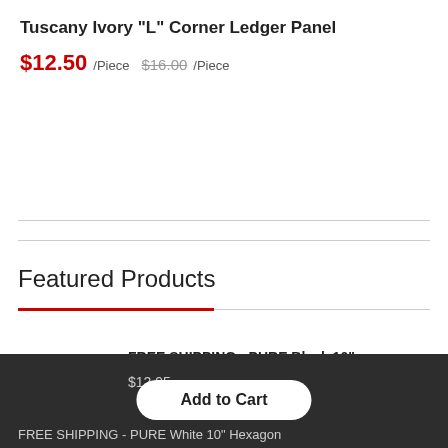Tuscany Ivory "L" Corner Ledger Panel
$12.50 /Piece  $16.00 /Piece
Featured Products
FREE SHIPPING - PURE Black 10" Hexagon Porcelain Tile-Black
$12.95
FREE SHIPPING - PURE White 10" Hexagon
Add to Cart